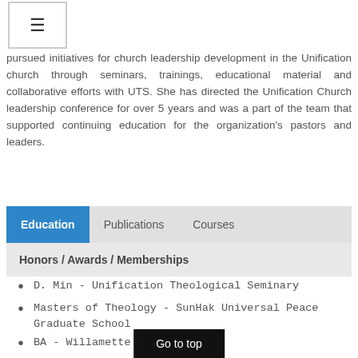≡
pursued initiatives for church leadership development in the Unification church through seminars, trainings, educational material and collaborative efforts with UTS. She has directed the Unification Church leadership conference for over 5 years and was a part of the team that supported continuing education for the organization's pastors and leaders.
Education | Publications | Courses
Honors / Awards / Memberships
D. Min - Unification Theological Seminary
Masters of Theology - SunHak Universal Peace Graduate School
BA - Willamette University